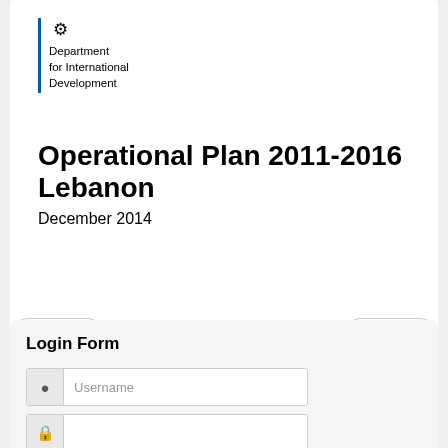[Figure (logo): UK Government crest with Department for International Development text and blue vertical bar]
Operational Plan 2011-2016 Lebanon
December 2014
◄ Prev
Next ►
Login Form
Username